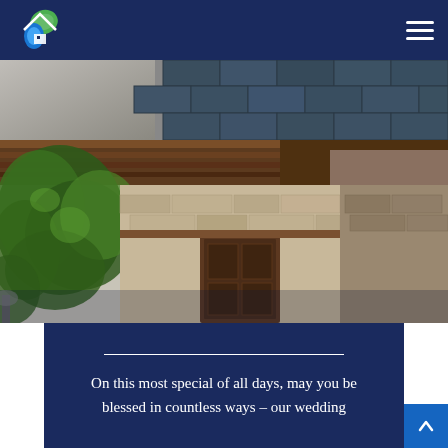[Figure (logo): House/home logo with green leaf and blue water drop elements on dark navy navigation bar]
[Figure (photo): Top banner photo showing a slate/shingle roof — left portion shows gray material, right portion shows dark blue-gray slate tiles]
[Figure (photo): Main photo showing an old rustic stone and wood building facade with ivy/climbing plants on the left, weathered wooden beams, stone wall, and a wooden door]
On this most special of all days, may you be blessed in countless ways – our wedding